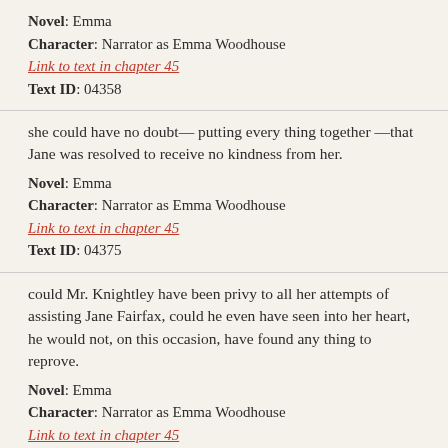Novel: Emma
Character: Narrator as Emma Woodhouse
Link to text in chapter 45
Text ID: 04358
she could have no doubt— putting every thing together —that Jane was resolved to receive no kindness from her.
Novel: Emma
Character: Narrator as Emma Woodhouse
Link to text in chapter 45
Text ID: 04375
could Mr. Knightley have been privy to all her attempts of assisting Jane Fairfax, could he even have seen into her heart, he would not, on this occasion, have found any thing to reprove.
Novel: Emma
Character: Narrator as Emma Woodhouse
Link to text in chapter 45
Text ID: 04378
the probability of its being some money concern— — something